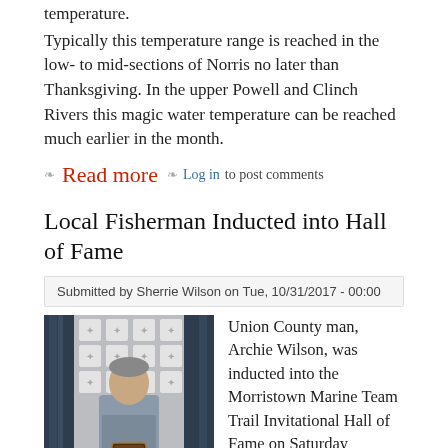temperature.
Typically this temperature range is reached in the low- to mid-sections of Norris no later than Thanksgiving. In the upper Powell and Clinch Rivers this magic water temperature can be reached much earlier in the month.
Read more  Log in to post comments
Local Fisherman Inducted into Hall of Fame
Submitted by Sherrie Wilson on Tue, 10/31/2017 - 00:00
[Figure (photo): A man standing in front of a decorative backdrop holding a trophy/plaque at the Morristown Marine Team Trail Invitational Hall of Fame ceremony]
Union County man, Archie Wilson, was inducted into the Morristown Marine Team Trail Invitational Hall of Fame on Saturday October 28, 2017. He received his trophy/plaque at